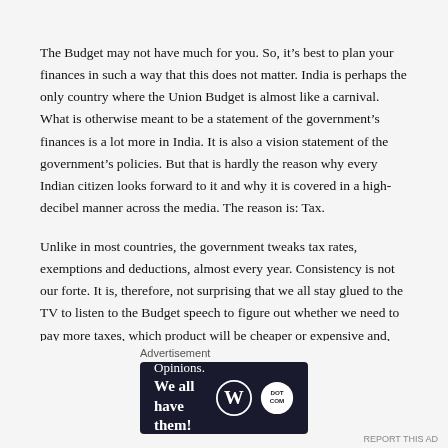The Budget may not have much for you. So, it's best to plan your finances in such a way that this does not matter. India is perhaps the only country where the Union Budget is almost like a carnival. What is otherwise meant to be a statement of the government's finances is a lot more in India. It is also a vision statement of the government's policies. But that is hardly the reason why every Indian citizen looks forward to it and why it is covered in a high-decibel manner across the media. The reason is: Tax.
Unlike in most countries, the government tweaks tax rates, exemptions and deductions, almost every year. Consistency is not our forte. It is, therefore, not surprising that we all stay glued to the TV to listen to the Budget speech to figure out whether we need to pay more taxes, which product will be cheaper or expensive and, above all, which new products will we now be able to invest in for saving tax. In India, it is the…
Advertisement
[Figure (infographic): Advertisement banner with dark navy background. Text reads 'Opinions. We all have them!' with WordPress logo and another circular logo on the right.]